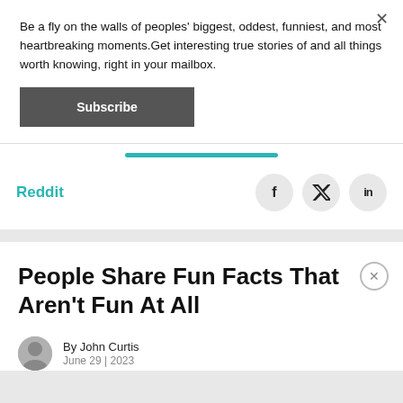Be a fly on the walls of peoples' biggest, oddest, funniest, and most heartbreaking moments.Get interesting true stories of and all things worth knowing, right in your mailbox.
Subscribe
Reddit
[Figure (infographic): Social sharing icons: Facebook (f), Twitter (bird), LinkedIn (in)]
People Share Fun Facts That Aren't Fun At All
By John Curtis
June 29 | 2023